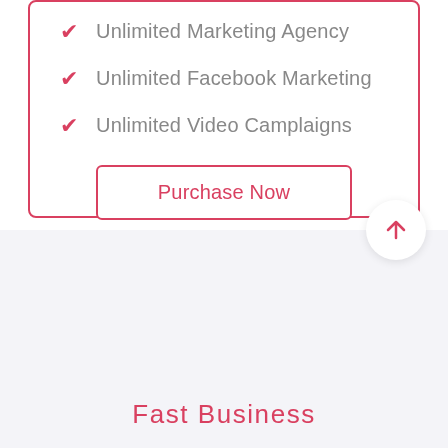✔ Unlimited Marketing Agency
✔ Unlimited Facebook Marketing
✔ Unlimited Video Camplaigns
Purchase Now
Fast Business